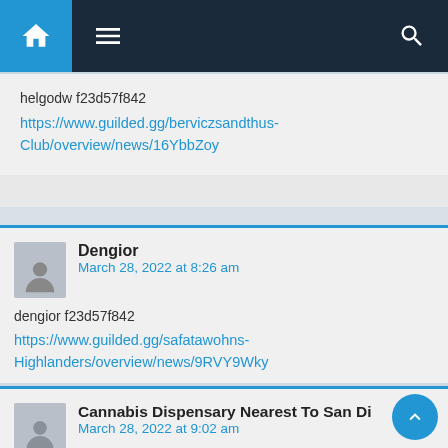Navigation bar with home, menu, and search icons
helgodw f23d57f842
https://www.guilded.gg/berviczsandthus-Club/overview/news/16YbbZoy
Dengior
March 28, 2022 at 8:26 am
dengior f23d57f842
https://www.guilded.gg/safatawohns-Highlanders/overview/news/9RVY9Wky
Cannabis Dispensary Nearest To San Di
March 28, 2022 at 9:02 am